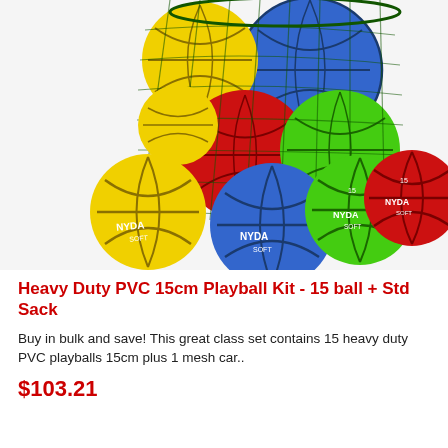[Figure (photo): A mesh net bag filled with colorful basketballs (yellow, blue, red, green) branded NYDA, with additional balls (yellow, blue, green, red) displayed in front.]
Heavy Duty PVC 15cm Playball Kit - 15 ball + Std Sack
Buy in bulk and save! This great class set contains 15 heavy duty PVC playballs 15cm plus 1 mesh car..
$103.21